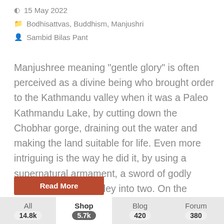15 May 2022
Bodhisattvas, Buddhism, Manjushri
Sambid Bilas Pant
Manjushree meaning “gentle glory” is often perceived as a divine being who brought order to the Kathmandu valley when it was a Paleo Kathmandu Lake, by cutting down the Chobhar gorge, draining out the water and making the land suitable for life. Even more intriguing is the way he did it, by using a supernatural armament, a sword of godly might, cutting the valley into two. On the historical side of affairs, there are .
Read More
All 14.8k | Shop 5.7k | Blog 420 | Forum 380